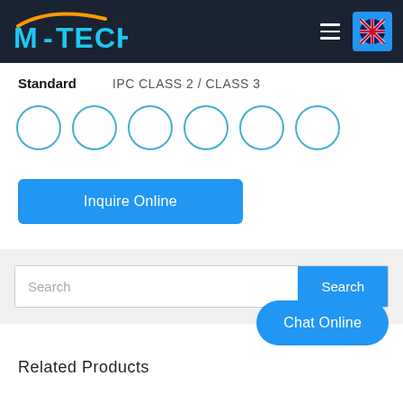[Figure (logo): M-TECH logo with orange arc and blue text on dark navy header bar, with hamburger menu icon and UK flag language selector button]
Standard    IPC CLASS 2 / CLASS 3
[Figure (other): Row of 6 empty circles with blue outlines — product option selectors]
Inquire Online
Search
Chat Online
Related Products